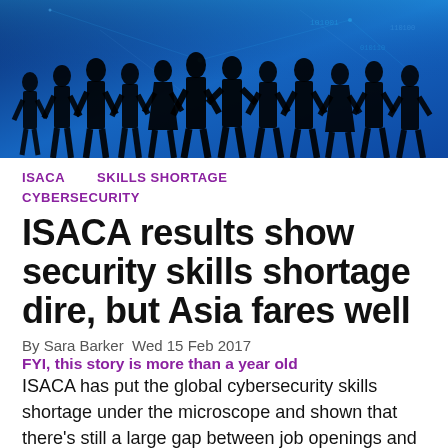[Figure (photo): Silhouettes of a group of people standing against a blue digital/technology background with binary code and network lines.]
ISACA   SKILLS SHORTAGE
CYBERSECURITY
ISACA results show security skills shortage dire, but Asia fares well
By Sara Barker  Wed 15 Feb 2017
FYI, this story is more than a year old
ISACA has put the global cybersecurity skills shortage under the microscope and shown that there's still a large gap between job openings and qualified candidates.